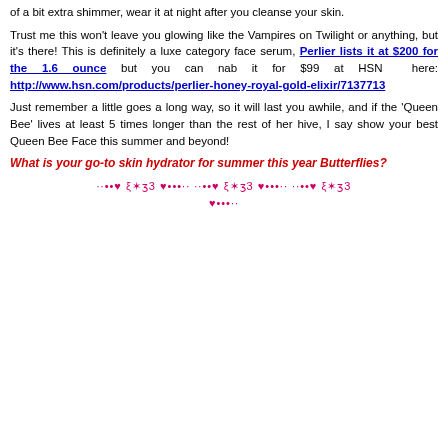of a bit extra shimmer, wear it at night after you cleanse your skin.
Trust me this won't leave you glowing like the Vampires on Twilight or anything, but it's there! This is definitely a luxe category face serum, Perlier lists it at $200 for the 1.6 ounce but you can nab it for $99 at HSN here: http://www.hsn.com/products/perlier-honey-royal-gold-elixir/7137713
Just remember a little goes a long way, so it will last you awhile, and if the 'Queen Bee' lives at least 5 times longer than the rest of her hive, I say show your best Queen Bee Face this summer and beyond!
What is your go-to skin hydrator for summer this year Butterflies?
[Figure (illustration): Decorative text divider with hearts, dots, and stylized text characters in pink/magenta color]